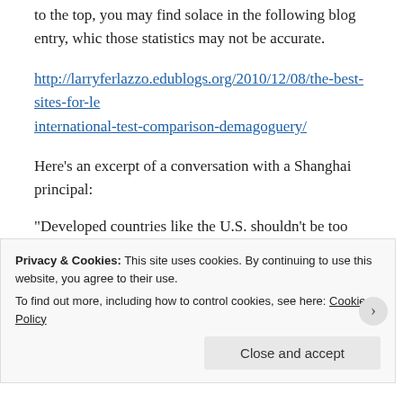to the top, you may find solace in the following blog entry, which suggests those statistics may not be accurate.
http://larryferlazzo.edublogs.org/2010/12/08/the-best-sites-for-learning-about-international-test-comparison-demagoguery/
Here’s an excerpt of a conversation with a Shanghai principal:
“Developed countries like the U.S. shouldn’t be too surprised by index, one measure that shows off the good points of Shanghai’s the results can’t cover up our problems,” he says. Liu is very fra continuing reliance on rote learning, the lack of analysis or criti system is in dire need of reform. “Why don’t Chinese students c
Privacy & Cookies: This site uses cookies. By continuing to use this website, you agree to their use.
To find out more, including how to control cookies, see here: Cookie Policy
Close and accept